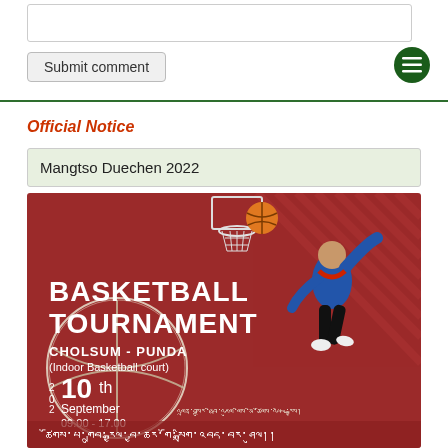[textarea input field]
Submit comment
Official Notice
Mangtso Duechen 2022
[Figure (illustration): Basketball Tournament poster on dark red background. Shows a basketball player dunking, a basketball hoop at top, and a large basketball on the left. Text reads: BASKETBALL TOURNAMENT, CHOLSUM - PUNDA (Indoor Basketball court), 2022 10th September 09.00 - 17.00. Tibetan script text at bottom.]